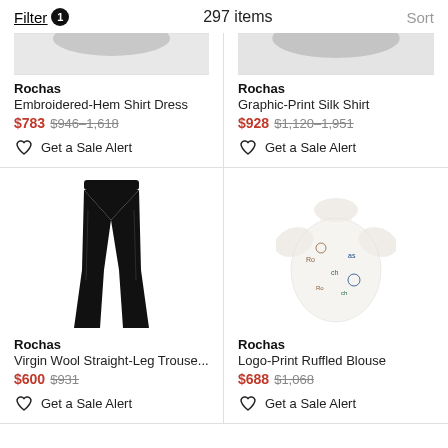Filter 1   297 items   Sort
Rochas
Embroidered-Hem Shirt Dress
$783 $946–1,618
Get a Sale Alert
Rochas
Graphic-Print Silk Shirt
$928 $1,120–1,951
Get a Sale Alert
[Figure (photo): Black flare trousers on white background]
Rochas
Virgin Wool Straight-Leg Trouse...
$600 $931
Get a Sale Alert
[Figure (photo): White ruffled blouse with colorful logo print on white background]
Rochas
Logo-Print Ruffled Blouse
$688 $1,068
Get a Sale Alert